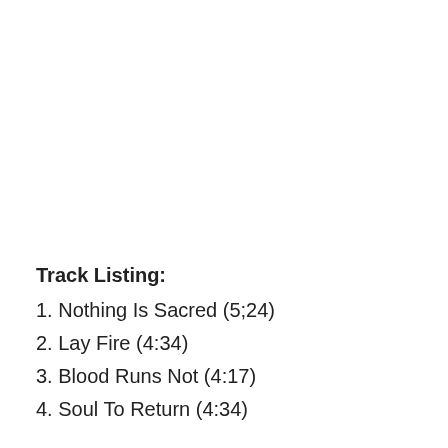Track Listing:
1. Nothing Is Sacred (5;24)
2. Lay Fire (4:34)
3. Blood Runs Not (4:17)
4. Soul To Return (4:34)